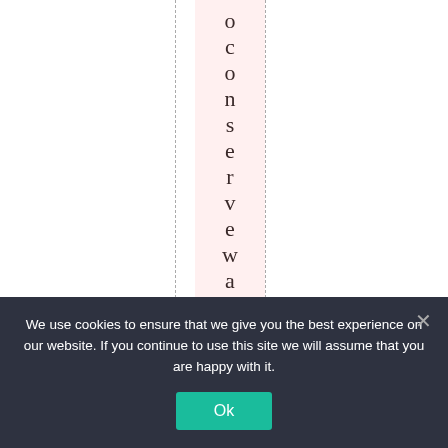oconservewaterwhic
We use cookies to ensure that we give you the best experience on our website. If you continue to use this site we will assume that you are happy with it. Ok